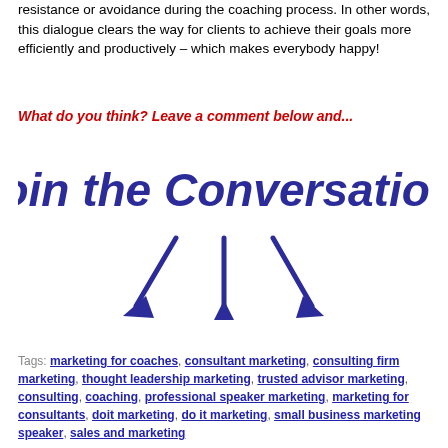resistance or avoidance during the coaching process. In other words, this dialogue clears the way for clients to achieve their goals more efficiently and productively – which makes everybody happy!
What do you think? Leave a comment below and...
[Figure (illustration): Handwritten-style text reading 'Join the Conversation!' in dark blue cursive lettering, with three large downward-pointing arrows below it.]
Tags: marketing for coaches, consultant marketing, consulting firm marketing, thought leadership marketing, trusted advisor marketing, consulting, coaching, professional speaker marketing, marketing for consultants, doit marketing, do it marketing, small business marketing speaker, sales and marketing